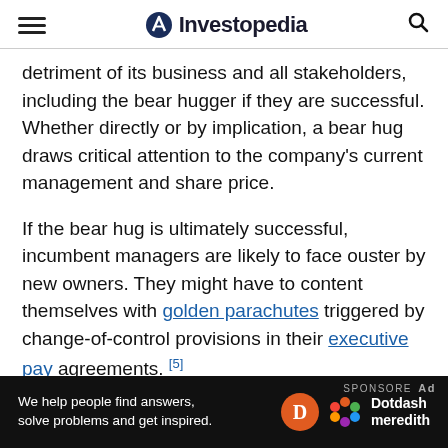Investopedia
detriment of its business and all stakeholders, including the bear hugger if they are successful. Whether directly or by implication, a bear hug draws critical attention to the company's current management and share price.
If the bear hug is ultimately successful, incumbent managers are likely to face ouster by new owners. They might have to content themselves with golden parachutes triggered by change-of-control provisions in their executive pay agreements.[5]
Switch to the Exclusive Provider